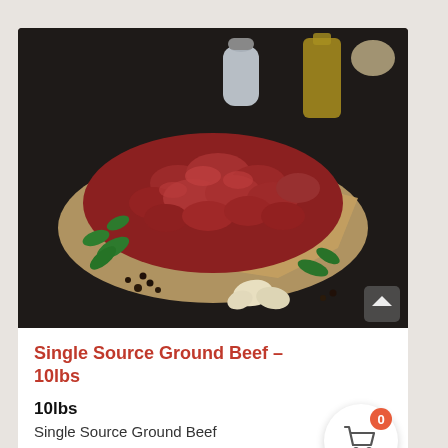[Figure (photo): Close-up photo of raw ground beef mounded on brown parchment paper, garnished with fresh green herbs (parsley), garlic cloves, and peppercorns scattered around, with a salt shaker and bottle of olive oil in the background, all on a dark surface.]
Single Source Ground Beef – 10lbs
10lbs
Single Source Ground Beef